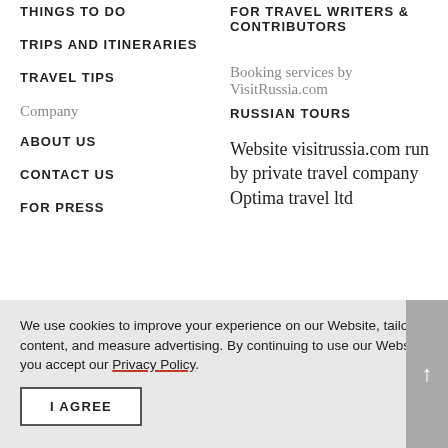THINGS TO DO
TRIPS AND ITINERARIES
TRAVEL TIPS
Company
ABOUT US
CONTACT US
FOR PRESS
FOR TRAVEL WRITERS & CONTRIBUTORS
Booking services by VisitRussia.com
RUSSIAN TOURS
Website visitrussia.com run by private travel company Optima travel ltd
We use cookies to improve your experience on our Website, tailor content, and measure advertising. By continuing to use our Website, you accept our Privacy Policy.
I AGREE